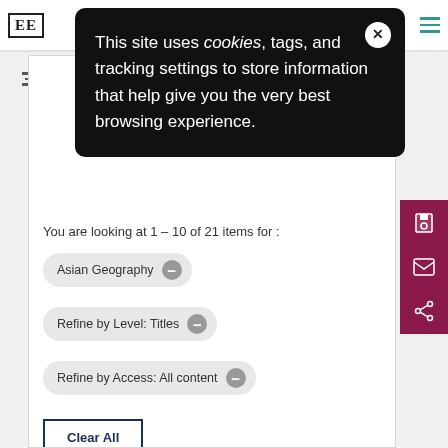[Figure (screenshot): Website navigation bar with EE logo, user icon, and hamburger menu in teal]
This site uses cookies, tags, and tracking settings to store information that help give you the very best browsing experience.
You are looking at 1 – 10 of 21 items for :
Asian Geography ⊖
Refine by Level: Titles ⊖
Refine by Access: All content ⊖
Clear All
Modify Search